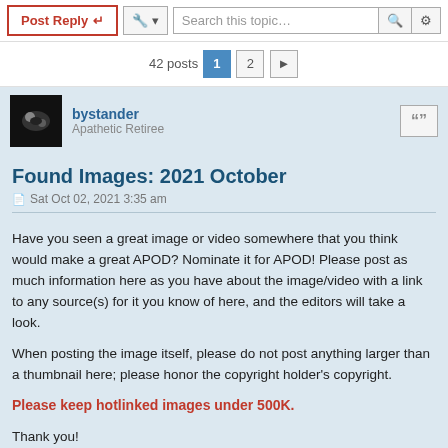Post Reply | Search this topic... | 42 posts 1 2 >
bystander
Apathetic Retiree
Found Images: 2021 October
Sat Oct 02, 2021 3:35 am
Have you seen a great image or video somewhere that you think would make a great APOD? Nominate it for APOD! Please post as much information here as you have about the image/video with a link to any source(s) for it you know of here, and the editors will take a look.
When posting the image itself, please do not post anything larger than a thumbnail here; please honor the copyright holder's copyright.
Please keep hotlinked images under 500K.
Thank you!
<< Previously